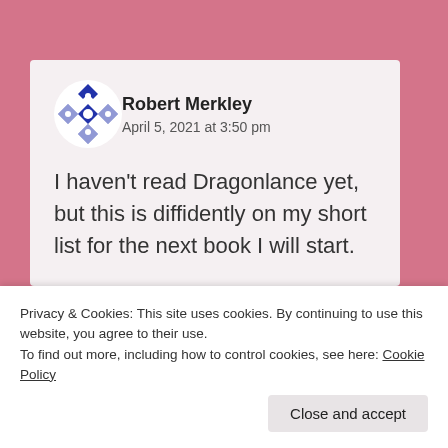Robert Merkley
April 5, 2021 at 3:50 pm
I haven't read Dragonlance yet, but this is diffidently on my short list for the next book I will start.
Privacy & Cookies: This site uses cookies. By continuing to use this website, you agree to their use.
To find out more, including how to control cookies, see here: Cookie Policy